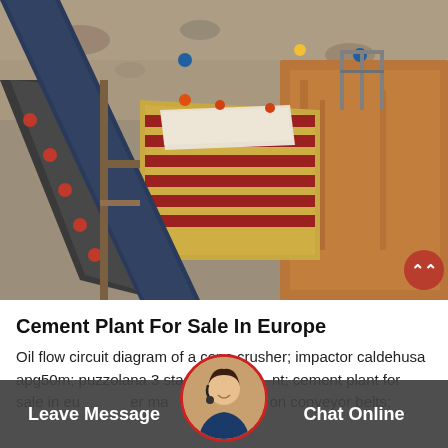[Figure (photo): Aerial/overhead view of an industrial quarry or mining conveyor belt system, showing metal conveyor belts, structural frames, rusty metal surfaces, and construction/mining equipment viewed from above.]
Cement Plant For Sale In Europe
Oil flow circuit diagram of a cone crusher; impactor caldehusa apg50m; puzzolana 3 stage crusher plant; cement plant for sale in europe; 2014 jaw crusher manufacturer; conclusion on conveyor belts;